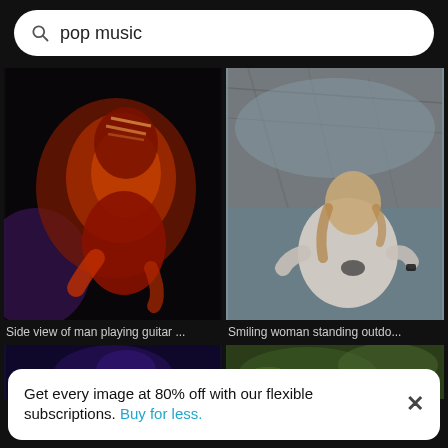pop music
[Figure (photo): Side view of man playing guitar in dark red-lit stage setting]
Side view of man playing guitar ...
[Figure (photo): Smiling woman standing outdoors near a wet rocky surface]
Smiling woman standing outdo...
[Figure (photo): Partial thumbnail of a dark purple-toned scene]
[Figure (photo): Partial thumbnail of a green outdoor scene]
Get every image at 80% off with our flexible subscriptions. Buy for less.